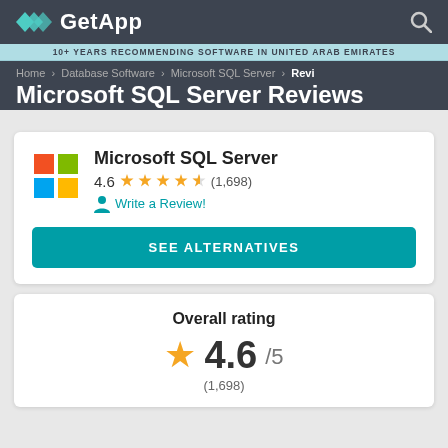GetApp
10+ YEARS RECOMMENDING SOFTWARE IN UNITED ARAB EMIRATES
Home › Database Software › Microsoft SQL Server › Revi
Microsoft SQL Server Reviews
Microsoft SQL Server
4.6 (1,698)
Write a Review!
SEE ALTERNATIVES
Overall rating
4.6/5
(1,698)